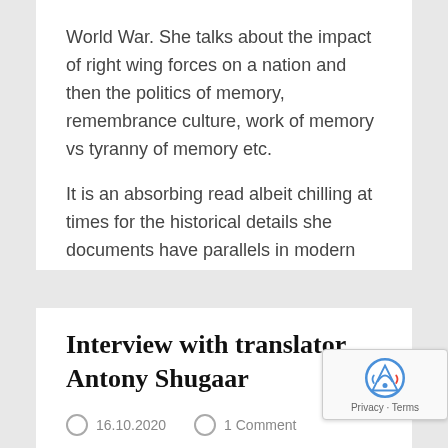World War. She talks about the impact of right wing forces on a nation and then the politics of memory, remembrance culture, work of memory vs tyranny of memory etc.
It is an absorbing read albeit chilling at times for the historical details she documents have parallels in modern politics. Stunning book.
19 Oct 2020
Interview with translator Antony Shugaar
16.10.2020   1 Comment